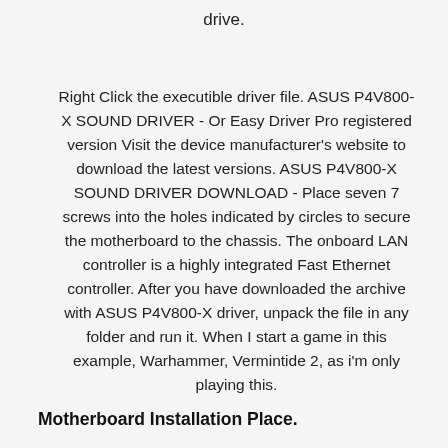drive.
Right Click the executible driver file. ASUS P4V800-X SOUND DRIVER - Or Easy Driver Pro registered version Visit the device manufacturer's website to download the latest versions. ASUS P4V800-X SOUND DRIVER DOWNLOAD - Place seven 7 screws into the holes indicated by circles to secure the motherboard to the chassis. The onboard LAN controller is a highly integrated Fast Ethernet controller. After you have downloaded the archive with ASUS P4V800-X driver, unpack the file in any folder and run it. When I start a game in this example, Warhammer, Vermintide 2, as i'm only playing this.
Motherboard Installation Place.